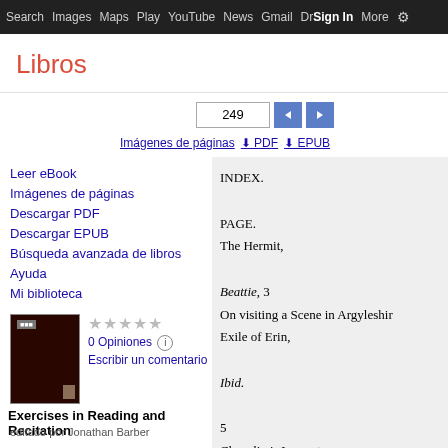Search  Images  Maps  Play  YouTube  News  Gmail  Drive  More  Sign in  (settings)
Libros
249 (page navigation)
Imágenes de páginas  PDF  EPUB
Leer eBook
Imágenes de páginas
Descargar PDF
Descargar EPUB
Búsqueda avanzada de libros
Ayuda
Mi biblioteca
[Figure (photo): Dark red book cover thumbnail]
★★★★★
0 Opiniones
Escribir un comentario
Exercises in Reading and Recitation
editado por Jonathan Barber
INDEX.

PAGE.
The Hermit,

Beattie, 3
On visiting a Scene in Argyleshire,
Exile of Erin,

Ibid.

5
Chevalier's Lament,

Burns, 6
Elegy in a Country Church Yard,

Gray,